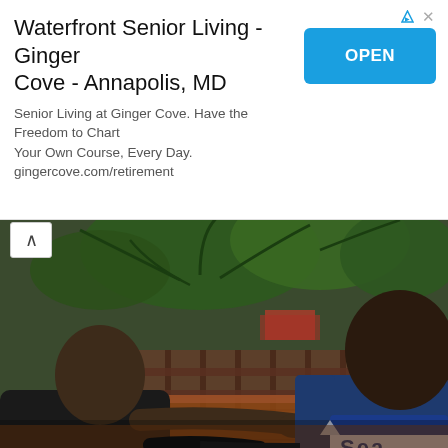Waterfront Senior Living - Ginger Cove - Annapolis, MD
OPEN
Senior Living at Ginger Cove. Have the Freedom to Chart Your Own Course, Every Day. gingercove.com/retirement
[Figure (photo): Outdoor scene showing people seated at a wooden table or deck. A person in a black shirt is on the left, another person in a blue shirt with a blue and white bag (partially showing text 'Sea') is on the right. A third person with a hat is visible in the background. Palm trees and a wooden railing structure are visible in the background.]